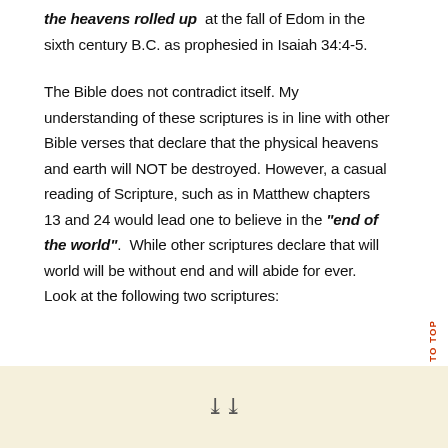the heavens rolled up at the fall of Edom in the sixth century B.C. as prophesied in Isaiah 34:4-5.
The Bible does not contradict itself. My understanding of these scriptures is in line with other Bible verses that declare that the physical heavens and earth will NOT be destroyed. However, a casual reading of Scripture, such as in Matthew chapters 13 and 24 would lead one to believe in the "end of the world". While other scriptures declare that will world will be without end and will abide for ever. Look at the following two scriptures:
[Figure (other): Cream/beige colored box at the bottom of the page with a double chevron (down arrow) symbol centered within it]